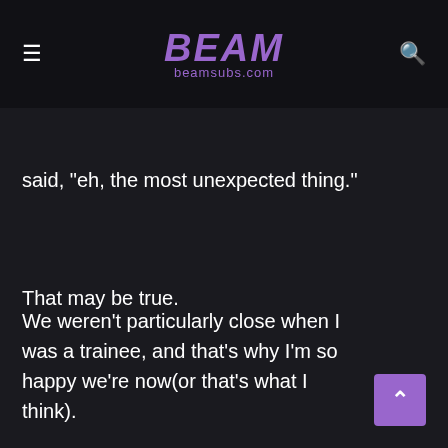BEAM beamsubs.com
said, "eh, the most unexpected thing."
That may be true.
We weren't particularly close when I was a trainee, and that's why I'm so happy we're now(or that's what I think).